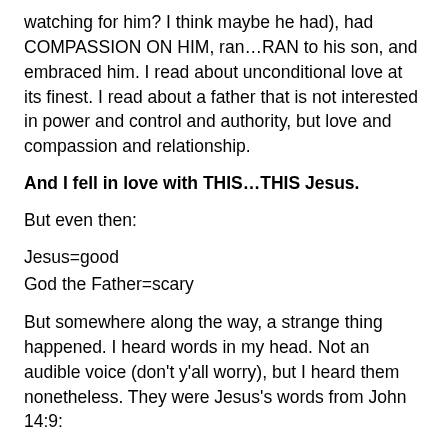watching for him? I think maybe he had), had COMPASSION ON HIM, ran…RAN to his son, and embraced him. I read about unconditional love at its finest. I read about a father that is not interested in power and control and authority, but love and compassion and relationship.
And I fell in love with THIS…THIS Jesus.
But even then:
Jesus=good
God the Father=scary
But somewhere along the way, a strange thing happened. I heard words in my head. Not an audible voice (don't y'all worry), but I heard them nonetheless. They were Jesus's words from John 14:9:
Anyone who has seen me has seen the Father.